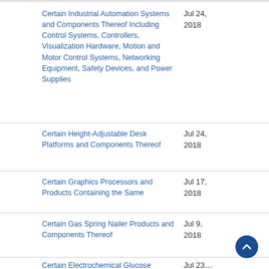Certain Industrial Automation Systems and Components Thereof Including Control Systems, Controllers, Visualization Hardware, Motion and Motor Control Systems, Networking Equipment, Safety Devices, and Power Supplies
Certain Height-Adjustable Desk Platforms and Components Thereof
Certain Graphics Processors and Products Containing the Same
Certain Gas Spring Nailer Products and Components Thereof
Certain Electrochemical Glucose…